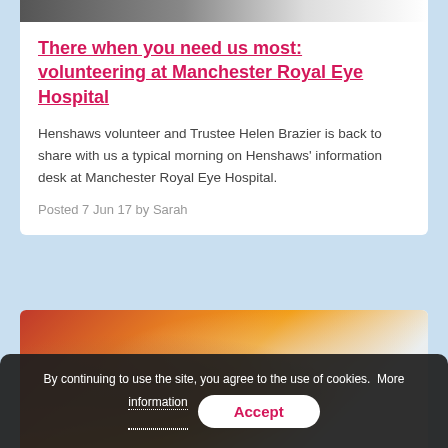[Figure (photo): Partial photo at top of first article card, showing people in a medical/volunteer setting]
There when you need us most: volunteering at Manchester Royal Eye Hospital
Henshaws volunteer and Trustee Helen Brazier is back to share with us a typical morning on Henshaws' information desk at Manchester Royal Eye Hospital.
Posted 7 Jun 17 by Sarah
[Figure (photo): Partial photo at top of second article card, showing a person with red/orange background in what appears to be a hospital or charity setting]
By continuing to use the site, you agree to the use of cookies.  More information
Accept